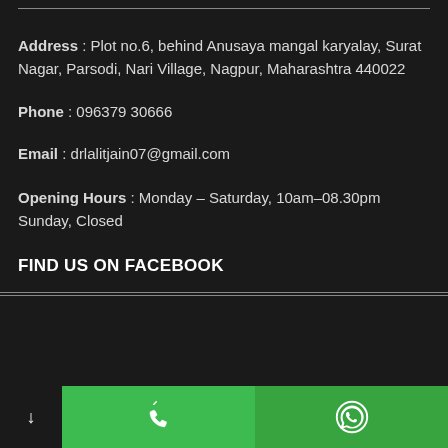Address : Plot no.6, behind Anusaya mangal karyalay, Surat Nagar, Parsodi, Nari Village, Nagpur, Maharashtra 440022
Phone : 096379 30666
Email : drlalitjain07@gmail.com
Opening Hours : Monday – Saturday, 10am–08.30pm Sunday, Closed
FIND US ON FACEBOOK